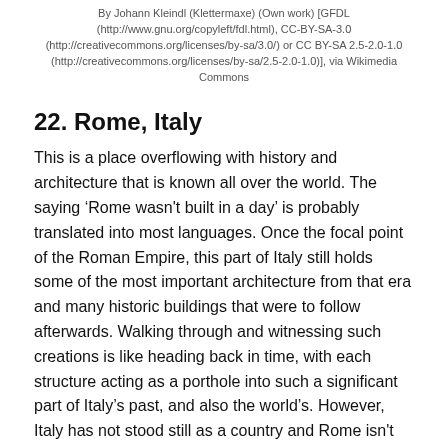By Johann Kleindl (Klettermaxe) (Own work) [GFDL (http://www.gnu.org/copyleft/fdl.html), CC-BY-SA-3.0 (http://creativecommons.org/licenses/by-sa/3.0/) or CC BY-SA 2.5-2.0-1.0 (http://creativecommons.org/licenses/by-sa/2.5-2.0-1.0)], via Wikimedia Commons
22. Rome, Italy
This is a place overflowing with history and architecture that is known all over the world. The saying ‘Rome wasn't built in a day’ is probably translated into most languages. Once the focal point of the Roman Empire, this part of Italy still holds some of the most important architecture from that era and many historic buildings that were to follow afterwards. Walking through and witnessing such creations is like heading back in time, with each structure acting as a porthole into such a significant part of Italy’s past, and also the world’s. However, Italy has not stood still as a country and Rome isn't just old buildings, it is also a modern place filled with culture, fashion and excellent food and drink. Rome can be crazy and hectic, and provides an atmosphere that